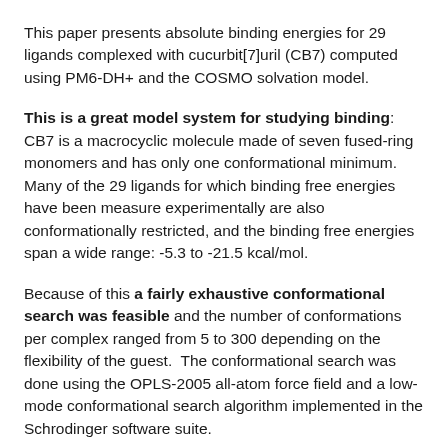This paper presents absolute binding energies for 29 ligands complexed with cucurbit[7]uril (CB7) computed using PM6-DH+ and the COSMO solvation model.
This is a great model system for studying binding: CB7 is a macrocyclic molecule made of seven fused-ring monomers and has only one conformational minimum. Many of the 29 ligands for which binding free energies have been measure experimentally are also conformationally restricted, and the binding free energies span a wide range: -5.3 to -21.5 kcal/mol.
Because of this a fairly exhaustive conformational search was feasible and the number of conformations per complex ranged from 5 to 300 depending on the flexibility of the guest. The conformational search was done using the OPLS-2005 all-atom force field and a low-mode conformational search algorithm implemented in the Schrodinger software suite.
These structures where then used as a starting point for